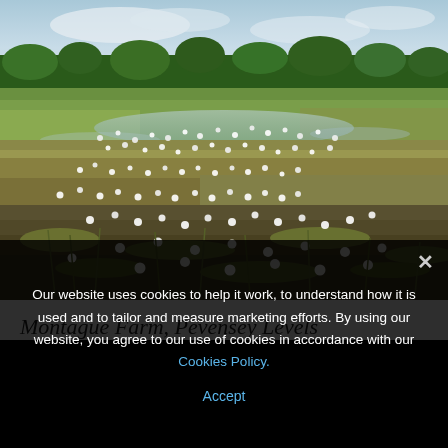[Figure (photo): Wetland/marsh landscape photo showing white wildflowers (water crowfoot) growing across a shallow flooded field with grasses. Green trees and cloudy sky visible in the background.]
Montague Farm, Pevensey Levels
Our website uses cookies to help it work, to understand how it is used and to tailor and measure marketing efforts. By using our website, you agree to our use of cookies in accordance with our Cookies Policy.
Accept